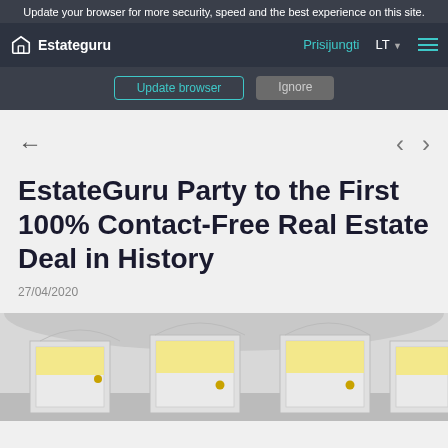Update your browser for more security, speed and the best experience on this site.
Estateguru | Prisijungti | LT
Update browser | Ignore
← back
< >
EstateGuru Party to the First 100% Contact-Free Real Estate Deal in History
27/04/2020
[Figure (photo): Interior hallway with white arched doorways and yellow door handles/locks, viewed from below]